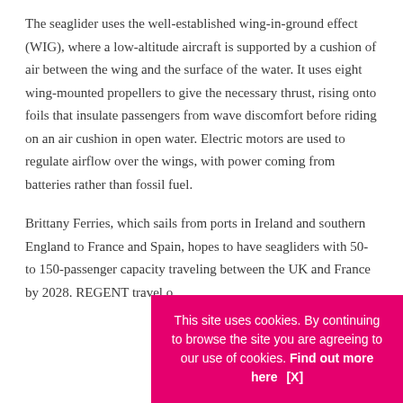The seaglider uses the well-established wing-in-ground effect (WIG), where a low-altitude aircraft is supported by a cushion of air between the wing and the surface of the water. It uses eight wing-mounted propellers to give the necessary thrust, rising onto foils that insulate passengers from wave discomfort before riding on an air cushion in open water. Electric motors are used to regulate airflow over the wings, with power coming from batteries rather than fossil fuel.
Brittany Ferries, which sails from ports in Ireland and southern England to France and Spain, hopes to have seagliders with 50- to 150-passenger capacity traveling between the UK and France by 2028. REGENT... travel o...
This site uses cookies. By continuing to browse the site you are agreeing to our use of cookies. Find out more here    [X]